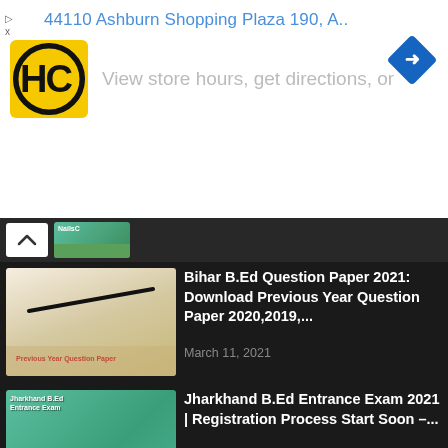[Figure (screenshot): Ad banner showing HC logo, address '44110 Ashburn Shopping Plaza 190, A..', tagline 'View store hours, get directions, or', navigation icon, and ad indicator]
[Figure (screenshot): Collapsed article card with chevron up and thumbnail]
[Figure (screenshot): Article thumbnail for Bihar B.Ed Question Paper]
Bihar B.Ed Question Paper 2021: Download Previous Year Question Paper 2020,2019,...
March 11, 2021
[Figure (screenshot): Article thumbnail for Jharkhand B.Ed Entrance Exam]
Jharkhand B.Ed Entrance Exam 2021 | Registration Process Start Soon –...
March 30, 2021
[Figure (screenshot): Article thumbnail for DU B.Ed Question Paper]
DU B.Ed Question Paper 2021 | Download Previous Year Question Paper...
June 11, 2021
[Figure (screenshot): Article thumbnail for AP EDCET Counselling]
AP EDCET Counselling 2021 | Registration